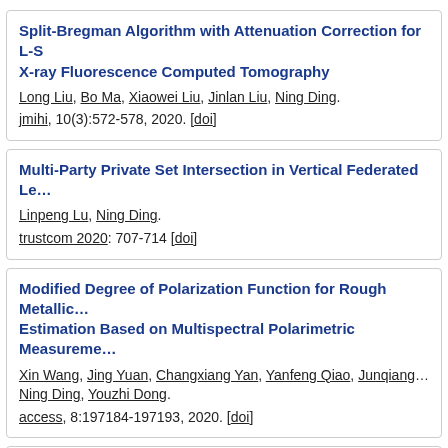Split-Bregman Algorithm with Attenuation Correction for L-S X-ray Fluorescence Computed Tomography
Long Liu, Bo Ma, Xiaowei Liu, Jinlan Liu, Ning Ding.
jmihi, 10(3):572-578, 2020. [doi]
Multi-Party Private Set Intersection in Vertical Federated Le...
Linpeng Lu, Ning Ding.
trustcom 2020: 707-714 [doi]
Modified Degree of Polarization Function for Rough Metallic... Estimation Based on Multispectral Polarimetric Measureme...
Xin Wang, Jing Yuan, Changxiang Yan, Yanfeng Qiao, Junqiang... Ning Ding, Youzhi Dong.
access, 8:197184-197193, 2020. [doi]
Cooperative Moving-Target Enclosing of Networked Vehicle... Linear Velocities
Xiao Yu, Ning Ding, Aidong Zhang, Huihuan Qian.